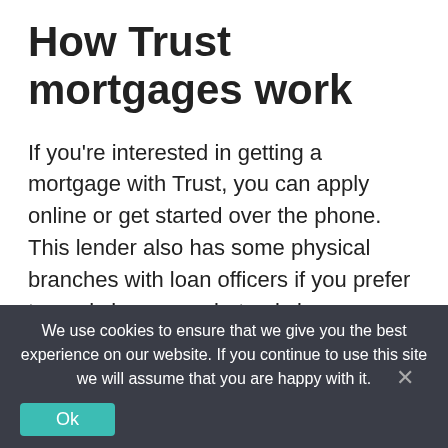How Trust mortgages work
If you're interested in getting a mortgage with Trust, you can apply online or get started over the phone. This lender also has some physical branches with loan officers if you prefer to apply in person, but only in some, mostly southern, states. Trust doesn't lend in Arizona, Alaska, or Hawaii.
We use cookies to ensure that we give you the best experience on our website. If you continue to use this site we will assume that you are happy with it.